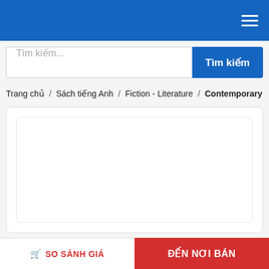Tìm kiếm...
Trang chủ / Sách tiếng Anh / Fiction - Literature / Contemporary
[Figure (screenshot): White card content area with inner bordered panel, empty content]
SO SÁNH GIÁ
ĐẾN NƠI BÁN